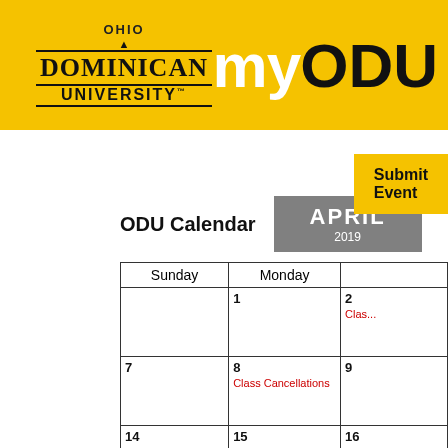[Figure (logo): Ohio Dominican University logo with black text on gold/yellow background]
myODU
Submit Event
ODU Calendar  APRIL 2019
| Sunday | Monday |  |
| --- | --- | --- |
|  | 1 | 2
Class... |
| 7 | 8
Class Cancellations | 9 |
| 14 | 15 | 16 |
| 21 | 22 | 23 |